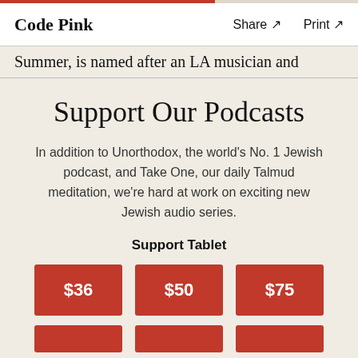Code Pink    Share ↗    Print ↗
Summer, is named after an LA musician and
Support Our Podcasts
In addition to Unorthodox, the world's No. 1 Jewish podcast, and Take One, our daily Talmud meditation, we're hard at work on exciting new Jewish audio series.
Support Tablet
$36  $50  $75